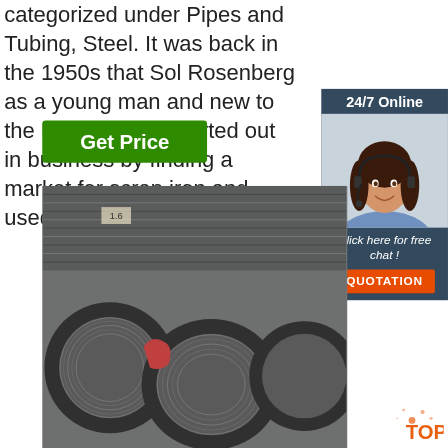categorized under Pipes and Tubing, Steel. It was back in the 1950s that Sol Rosenberg as a young man and new to the Monroe area started out in business by finding a market for scrap iron and used pipe.
[Figure (other): Green 'Get Price' button]
[Figure (other): Sidebar widget with '24/7 Online' header, photo of woman with headset, 'Click here for free chat!' text and orange QUOTATION button]
[Figure (photo): Photo of large spools/coils of steel wire stacked in an industrial warehouse]
[Figure (logo): Orange TOP badge logo in bottom right corner]